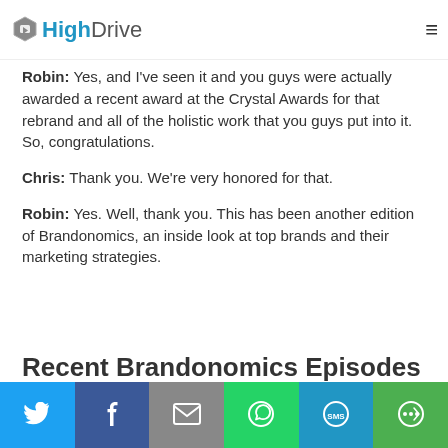HighDrive
Robin: Yes, and I've seen it and you guys were actually awarded a recent award at the Crystal Awards for that rebrand and all of the holistic work that you guys put into it. So, congratulations.
Chris: Thank you. We're very honored for that.
Robin: Yes. Well, thank you. This has been another edition of Brandonomics, an inside look at top brands and their marketing strategies.
Recent Brandonomics Episodes
[Figure (infographic): Social share bar with six buttons: Twitter (blue), Facebook (dark blue), Email (gray), WhatsApp (green), SMS (blue), More (green)]